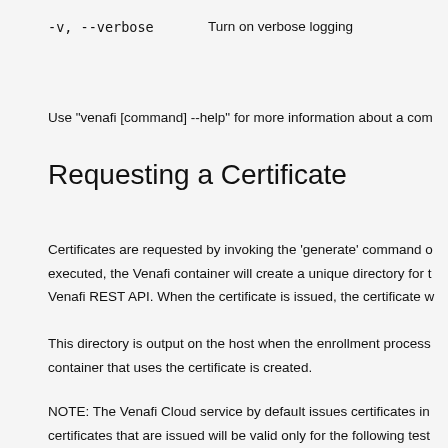-v, --verbose    Turn on verbose logging
Use "venafi [command] --help" for more information about a com
Requesting a Certificate
Certificates are requested by invoking the ‘generate’ command o executed, the Venafi container will create a unique directory for t Venafi REST API. When the certificate is issued, the certificate w
This directory is output on the host when the enrollment process container that uses the certificate is created.
NOTE: The Venafi Cloud service by default issues certificates in certificates that are issued will be valid only for the following test